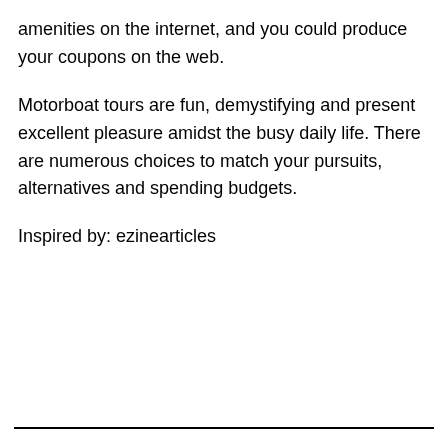amenities on the internet, and you could produce your coupons on the web.
Motorboat tours are fun, demystifying and present excellent pleasure amidst the busy daily life. There are numerous choices to match your pursuits, alternatives and spending budgets.
Inspired by: ezinearticles